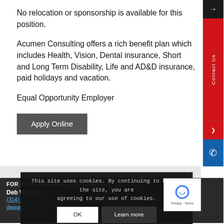No relocation or sponsorship is available for this position.
Acumen Consulting offers a rich benefit plan which includes Health, Vision, Dental insurance, Short and Long Term Disability, Life and AD&D insurance, paid holidays and vacation.
Equal Opportunity Employer
Apply Online
FOR MORE INFORMATION, CONTACT:
Deb Wagnon
(314) 818-1...
dwagnon@acumen-corp.com
This site uses cookies. By continuing to browse the site, you are agreeing to our use of cookies.
OK   Learn more